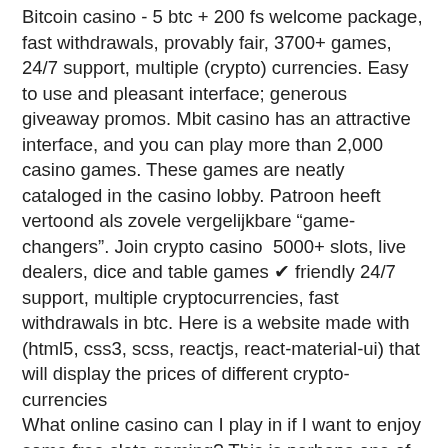Bitcoin casino - 5 btc + 200 fs welcome package, fast withdrawals, provably fair, 3700+ games, 24/7 support, multiple (crypto) currencies. Easy to use and pleasant interface; generous giveaway promos. Mbit casino has an attractive interface, and you can play more than 2,000 casino games. These games are neatly cataloged in the casino lobby. Patroon heeft vertoond als zovele vergelijkbare “game-changers”. Join crypto casino  5000+ slots, live dealers, dice and table games ✔ friendly 24/7 support, multiple cryptocurrencies, fast withdrawals in btc. Here is a website made with (html5, css3, scss, reactjs, react-material-ui) that will display the prices of different crypto-currencies
What online casino can I play in if I want to enjoy some free slots gaming? This is perhaps one of the easiest questions to answer, bitcoin slot games ui. There is no